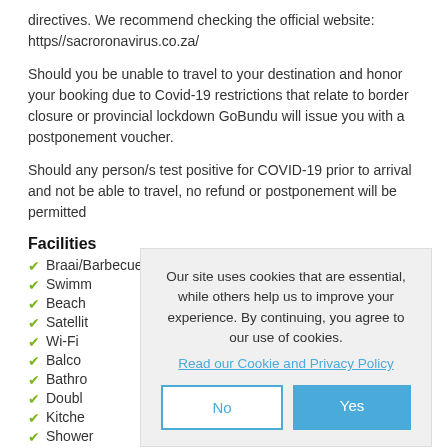directives. We recommend checking the official website: https//sacroronavirus.co.za/
Should you be unable to travel to your destination and honor your booking due to Covid-19 restrictions that relate to border closure or provincial lockdown GoBundu will issue you with a postponement voucher.
Should any person/s test positive for COVID-19 prior to arrival and not be able to travel, no refund or postponement will be permitted
Facilities
Braai/Barbecue
Swimm
Beach
Satellit
Wi-Fi
Balco
Bathro
Doubl
Kitche
Shower
Languages Spoken
English
Our site uses cookies that are essential, while others help us to improve your experience. By continuing, you agree to our use of cookies. Read our Cookie and Privacy Policy